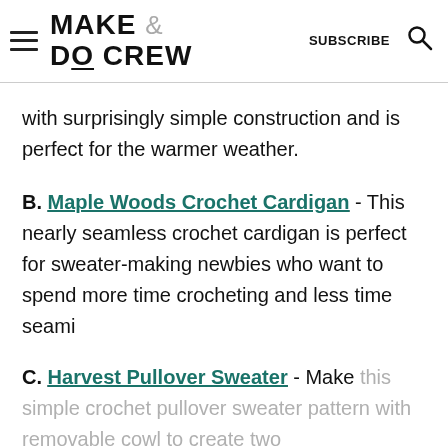MAKE & DO CREW | SUBSCRIBE
with surprisingly simple construction and is perfect for the warmer weather.
B. Maple Woods Crochet Cardigan - This nearly seamless crochet cardigan is perfect for sweater-making newbies who want to spend more time crocheting and less time seami
C. Harvest Pullover Sweater - Make this simple crochet pullover sweater pattern with removable cowl to create two